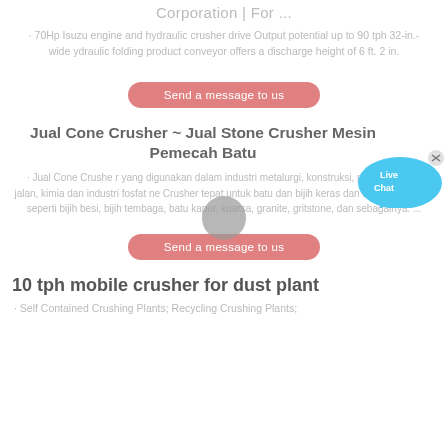Corporation | For ...
· 70Hp Isuzu engine and hydraulic crusher drive Output potential up to 90 tph 32-in.-wide ydraulic folding product conveyor offers a discharge height of 6 ft. 2 in.
Send a message to us
Jual Cone Crusher ~ Jual Stone Crusher Mesin Pemecah Batu
· Jual Cone Crusher yang digunakan dalam industri metalurgi, konstruksi, pembangunan jalan, kimia dan industri fosfat ne Crusher tepat untuk batu dan bijih keras dan setengah keras, seperti bijih besi, bijih tembaga, batu kapur, kuarsa, granite, gritstone, dan sebagainya. ...
Send a message to us
10 tph mobile crusher for dust plant
· Self Contained Crushing Plants; Recycling Crushing Plants;